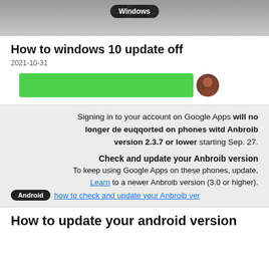[Figure (screenshot): Top portion of a Windows-labeled screenshot, dark gray keyboard/surface background with a black pill-shaped label reading 'Windows']
How to windows 10 update off
2021-10-31
[Figure (screenshot): Green banner/bar element with a small avatar circle to the right]
[Figure (screenshot): Mirrored/reversed text block reading: Signing in to your account on Google apps will no longer be supported on phones with Android version 2.3.7 or lower starting Sep. 27. Check and update your Android version. To keep using Google apps on these phones, update to a newer Android version (3.0 or higher). Learn how to check and update your Android version. Android label pill.]
How to update your android version